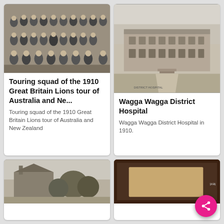[Figure (photo): Black and white photograph of the touring squad of the 1910 Great Britain Lions tour of Australia and New Zealand, group photo of men in striped jerseys]
Touring squad of the 1910 Great Britain Lions tour of Australia and Ne...
Touring squad of the 1910 Great Britain Lions tour of Australia and New Zealand
[Figure (photo): Black and white photograph of Wagga Wagga District Hospital building in 1910]
Wagga Wagga District Hospital
Wagga Wagga District Hospital in 1910.
[Figure (photo): Black and white photograph of a building with trees, partially visible at bottom left]
[Figure (photo): Sepia/brown toned photograph partially visible at bottom right with text on edge]